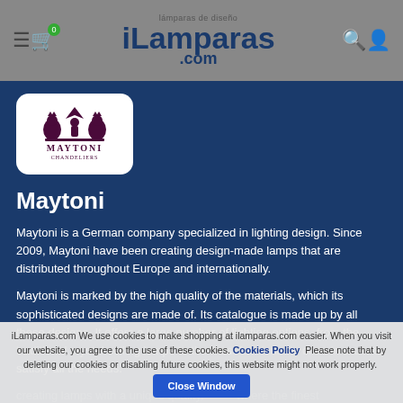iLamparas.com — lámparas de diseño
[Figure (logo): Maytoni chandeliers brand logo with crown and cats silhouette]
Maytoni
Maytoni is a German company specialized in lighting design. Since 2009, Maytoni have been creating design-made lamps that are distributed throughout Europe and internationally.
Maytoni is marked by the high quality of the materials, which its sophisticated designs are made of. Its catalogue is made up by all these designs. It offers a large number of lighting options, from the traditional crystal ceiling lamps to the most fashionable ones in order to satisfy all the needs.
creating lamps with a unique quality, where the finest
iLamparas.com We use cookies to make shopping at ilamparas.com easier. When you visit our website, you agree to the use of these cookies. Cookies Policy Please note that by deleting our cookies or disabling future cookies, this website might not work properly. Close Window